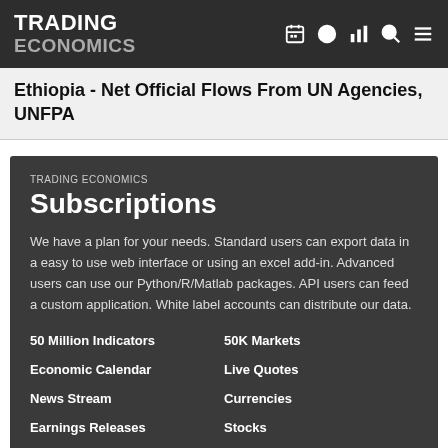TRADING ECONOMICS
Ethiopia - Net Official Flows From UN Agencies, UNFPA
TRADING ECONOMICS
Subscriptions
We have a plan for your needs. Standard users can export data in a easy to use web interface or using an excel add-in. Advanced users can use our Python/R/Matlab packages. API users can feed a custom application. White label accounts can distribute our data.
50 Million Indicators | 50K Markets | Economic Calendar | Live Quotes | News Stream | Currencies | Earnings Releases | Stocks | Credit Ratings | Commodities